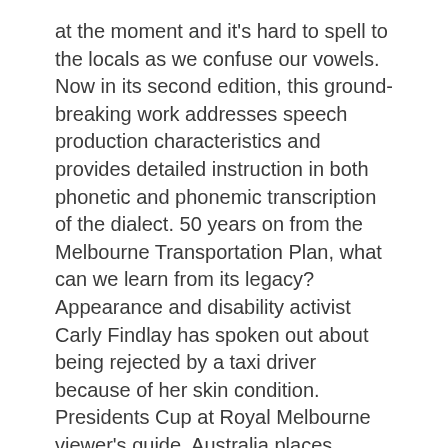at the moment and it's hard to spell to the locals as we confuse our vowels. Now in its second edition, this ground-breaking work addresses speech production characteristics and provides detailed instruction in both phonetic and phonemic transcription of the dialect. 50 years on from the Melbourne Transportation Plan, what can we learn from its legacy? Appearance and disability activist Carly Findlay has spoken out about being rejected by a taxi driver because of her skin condition. Presidents Cup at Royal Melbourne viewer's guide, Australia places Melbourne under 6-week coronavirus lockdown, Melbourne Resumes Lockdown As Coronavirus Cases Surge, Second covid second wave in Melbourne sets back tourism, education hub, Asia Today: Australian PM defends Melbourne lockdown, Australian leader defends Melbourne's new coronavirus lockdown, Australia Battles to Contain Melbourne Coronavirus Outbreak, Melbourne is reentering lockdown as the number of new coronavirus cases in the Australian city continues to spike. Panic-